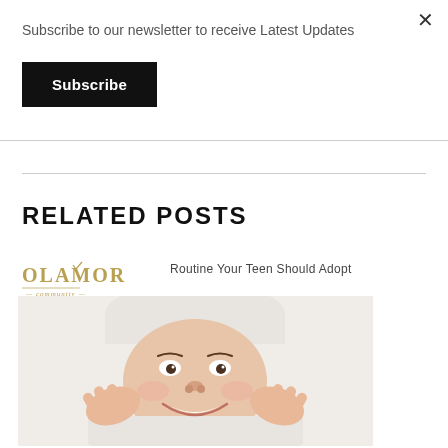Subscribe to our newsletter to receive Latest Updates
Subscribe
RELATED POSTS
[Figure (logo): OLAMOR logo in gold/olive script with decorative underline]
Routine Your Teen Should Adopt
[Figure (photo): Smiling teenage girl wearing a white towel on her head, pressing her cheeks with her hands, skincare/beauty routine theme]